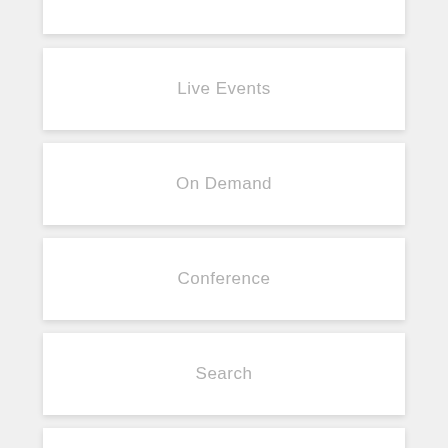Live Events
On Demand
Conference
Search
Help